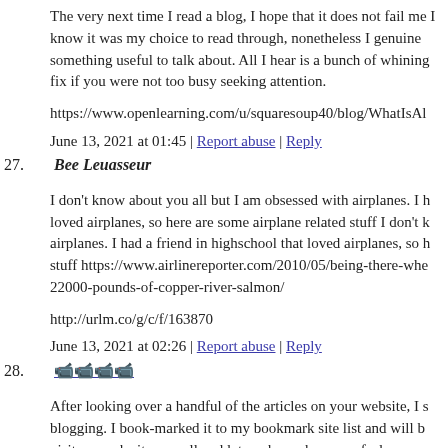The very next time I read a blog, I hope that it does not fail me I know it was my choice to read through, nonetheless I genuinely something useful to talk about. All I hear is a bunch of whining fix if you were not too busy seeking attention.
https://www.openlearning.com/u/squaresoup40/blog/WhatIsAl
June 13, 2021 at 01:45 | Report abuse | Reply
27. Bee Leuasseur
I don't know about you all but I am obsessed with airplanes. I h loved airplanes, so here are some airplane related stuff I don't k airplanes. I had a friend in highschool that loved airplanes, so h stuff https://www.airlinereporter.com/2010/05/being-there-whe 22000-pounds-of-copper-river-salmon/
http://urlm.co/g/c/f/163870
June 13, 2021 at 02:26 | Report abuse | Reply
28. 경마사이트
After looking over a handful of the articles on your website, I s blogging. I book-marked it to my bookmark site list and will be visit my web site as well and let me know how you feel.